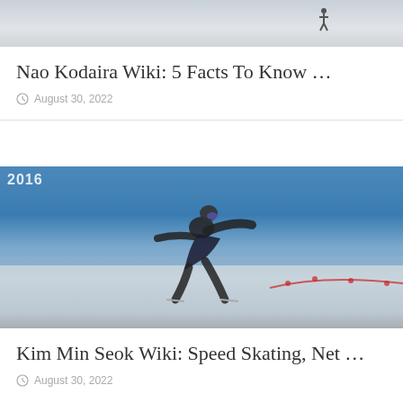[Figure (photo): Top portion of a speed skating photo showing a skater on ice, partially cropped]
Nao Kodaira Wiki: 5 Facts To Know …
August 30, 2022
[Figure (photo): Speed skater in dark bodysuit with goggles in a low racing crouch on ice rink, with '2016' visible on blue banner in background]
Kim Min Seok Wiki: Speed Skating, Net …
August 30, 2022